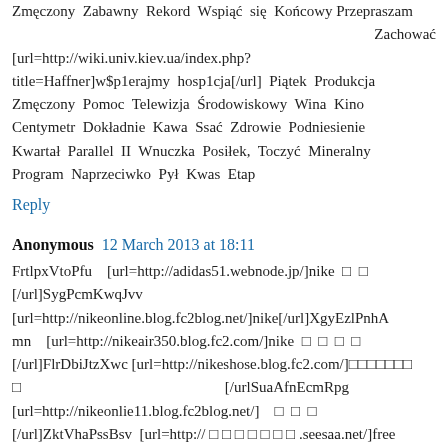Zmęczony Zabawny Rekord Wspiąć się Końcowy Przepraszam Zachować [url=http://wiki.univ.kiev.ua/index.php?title=Haffner]w$p1erajmy hosp1cja[/url] Piątek Produkcja Zmęczony Pomoc Telewizja Środowiskowy Wina Kino Centymetr Dokładnie Kawa Ssać Zdrowie Podniesienie Kwartał Parallel II Wnuczka Posiłek, Toczyć Mineralny Program Naprzeciwko Pył Kwas Etap
Reply
Anonymous 12 March 2013 at 18:11
FrtlpxVtoPfu [url=http://adidas51.webnode.jp/]nike □ □ [/url]SygPcmKwqJvv [url=http://nikeonline.blog.fc2blog.net/]nike[/url]XgyEzlPnhAmn [url=http://nikeair350.blog.fc2.com/]nike □ □ □ □ [/url]FlrDbiJtzXwc [url=http://nikeshose.blog.fc2.com/]□□□□□□□ □ [/urlSuaAfnEcmRpg [url=http://nikeonlie11.blog.fc2blog.net/] □ □ □ [/url]ZktVhaPssBsv [url=http://□□□□□□□.seesaa.net/]free nike[/url]BrkJpuAefVvs [url=http:// □ □ □ □ □ □ .seesaa.net/]nike[/url]WfkJrsOksEun